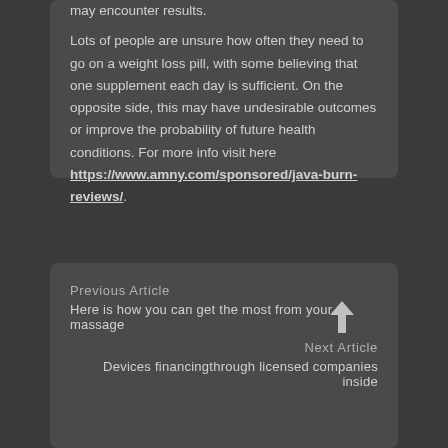may encounter results. Lots of people are unsure how often they need to go on a weight loss pill, with some believing that one supplement each day is sufficient. On the opposite side, this may have undesirable outcomes or improve the probability of future health conditions. For more info visit here https://www.amny.com/sponsored/java-burn-reviews/.
Previous Article
Here is how you can get the most from your massage
Next Article
Devices financingthrough licensed companies inside